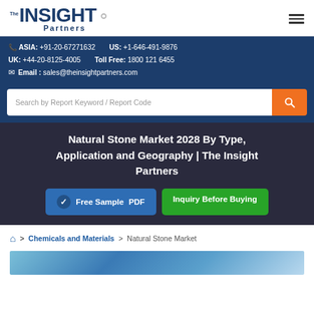The Insight Partners logo and hamburger menu
ASIA: +91-20-67271632   US: +1-646-491-9876
UK: +44-20-8125-4005   Toll Free: 1800 121 6455
Email : sales@theinsightpartners.com
Search by Report Keyword / Report Code
Natural Stone Market 2028 By Type, Application and Geography | The Insight Partners
Free Sample PDF
Inquiry Before Buying
Home > Chemicals and Materials > Natural Stone Market
[Figure (photo): Partial blue-toned image at bottom of page]